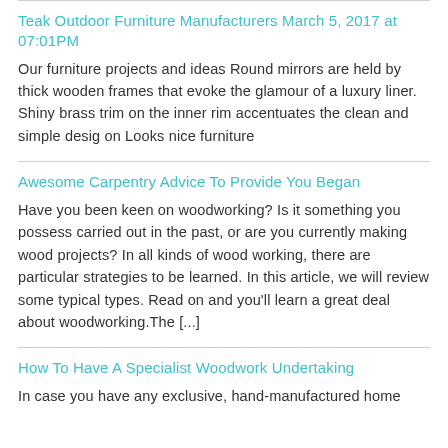Teak Outdoor Furniture Manufacturers March 5, 2017 at 07:01PM
Our furniture projects and ideas Round mirrors are held by thick wooden frames that evoke the glamour of a luxury liner. Shiny brass trim on the inner rim accentuates the clean and simple desig on Looks nice furniture
Awesome Carpentry Advice To Provide You Began
Have you been keen on woodworking? Is it something you possess carried out in the past, or are you currently making wood projects? In all kinds of wood working, there are particular strategies to be learned. In this article, we will review some typical types. Read on and you'll learn a great deal about woodworking.The [...]
How To Have A Specialist Woodwork Undertaking
In case you have any exclusive, hand-manufactured home